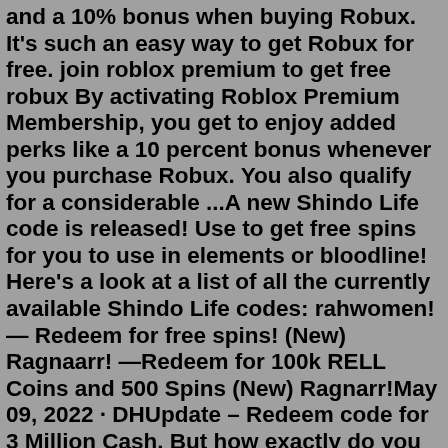and a 10% bonus when buying Robux. It's such an easy way to get Robux for free. join roblox premium to get free robux By activating Roblox Premium Membership, you get to enjoy added perks like a 10 percent bonus whenever you purchase Robux. You also qualify for a considerable ...A new Shindo Life code is released! Use to get free spins for you to use in elements or bloodline! Here's a look at a list of all the currently available Shindo Life codes: rahwomen! — Redeem for free spins! (New) Ragnaarr! —Redeem for 100k RELL Coins and 500 Spins (New) Ragnarr!May 09, 2022 · DHUpdate – Redeem code for 3 Million Cash. But how exactly do you use this free money code? Below are the steps: Open up Roblox Da Hood on your PC or Mobile device. Tap on the button that looks like a chest on the lower left corner of the screen. Enter DHUpdate. Apr 05, 2022 · There are several ways to get Robux, some of which are actually (more or less) free! 1. First off, you can buy it. There's no need to explain that further because chances are you probably know about it. This option